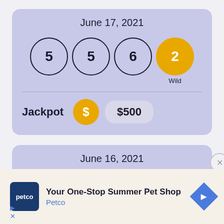June 17, 2021
[Figure (infographic): Lottery draw result showing balls with numbers 5, 5, 6, and a Wild ball with number 2]
Jackpot  $500
June 16, 2021
[Figure (infographic): Petco advertisement: Your One-Stop Summer Pet Shop]